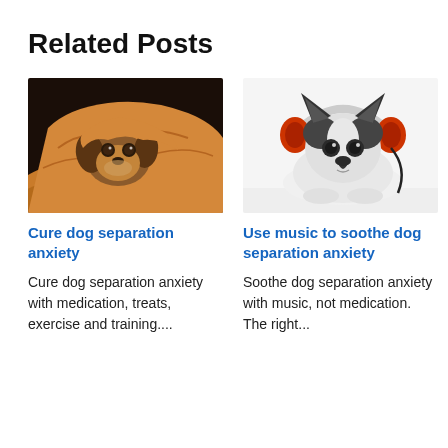Related Posts
[Figure (photo): Dog hiding under a blanket, peeking out with anxious eyes, dark background with warm orange blanket]
[Figure (photo): French bulldog wearing white and orange headphones, lying down on white background]
Cure dog separation anxiety
Use music to soothe dog separation anxiety
Cure dog separation anxiety with medication, treats, exercise and training....
Soothe dog separation anxiety with music, not medication. The right...